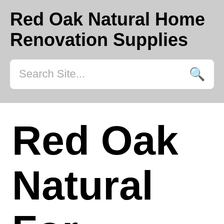Red Oak Natural Home Renovation Supplies
[Figure (screenshot): Search bar with placeholder text 'Search Site...' and a search icon on the right]
Red Oak Natural For